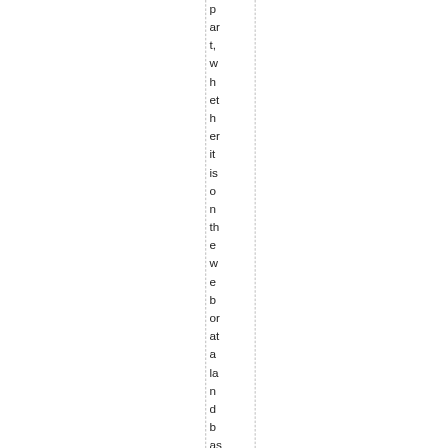part, whether it is on the web or at a land based gam